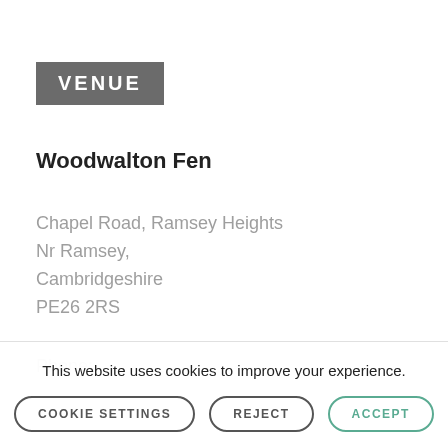VENUE
Woodwalton Fen
Chapel Road, Ramsey Heights
Nr Ramsey,
Cambridgeshire
PE26 2RS
Phone:
This website uses cookies to improve your experience.
COOKIE SETTINGS
REJECT
ACCEPT